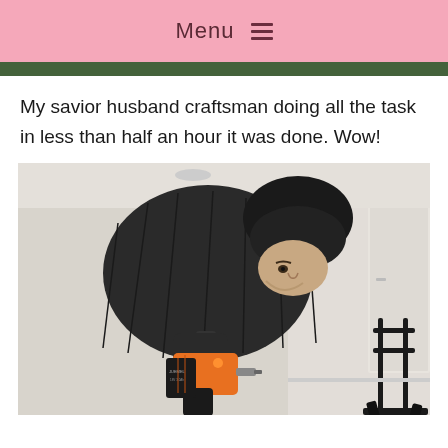Menu ≡
[Figure (photo): Top of a photo partially visible — outdoor greenery scene cropped at top of page]
My savior husband craftsman doing all the task in less than half an hour it was done. Wow!
[Figure (photo): A person wearing a black puffer jacket bending over and using an orange cordless drill (JUEMEL brand) in an indoor room setting. A black metal stand/rack is visible in the background on the right.]